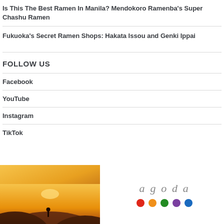Is This The Best Ramen In Manila? Mendokoro Ramenba's Super Chashu Ramen
Fukuoka's Secret Ramen Shops: Hakata Issou and Genki Ippai
FOLLOW US
Facebook
YouTube
Instagram
TikTok
[Figure (logo): Agoda advertisement banner with a golden sunset landscape photo on the left, and the Agoda logo text with five colored dots (red, orange, green, purple, blue) on the right]